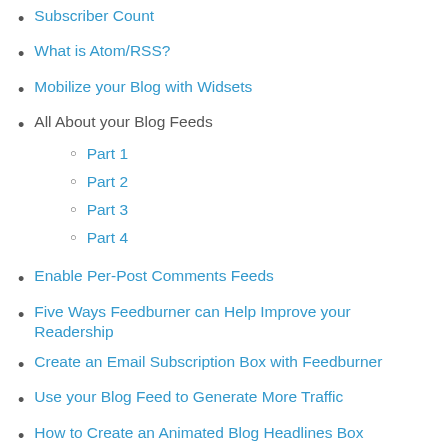Subscriber Count
What is Atom/RSS?
Mobilize your Blog with Widsets
All About your Blog Feeds
Part 1
Part 2
Part 3
Part 4
Enable Per-Post Comments Feeds
Five Ways Feedburner can Help Improve your Readership
Create an Email Subscription Box with Feedburner
Use your Blog Feed to Generate More Traffic
How to Create an Animated Blog Headlines Box
What is a Blog "Feed" and Why Do I Need It?
Back to Top